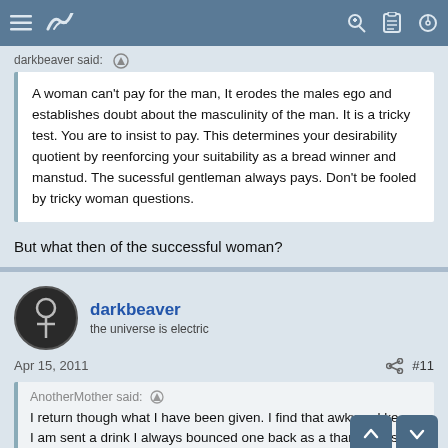Navigation bar with menu, logo, key, clipboard, and search icons
darkbeaver said: (upvote)
A woman can't pay for the man, It erodes the males ego and establishes doubt about the masculinity of the man. It is a tricky test. You are to insist to pay. This determines your desirability quotient by reenforcing your suitability as a bread winner and manstud. The sucessful gentleman always pays. Don't be fooled by tricky woman questions.
But what then of the successful woman?
darkbeaver
the universe is electric
Apr 15, 2011
#11
AnotherMother said: (upvote)
I return though what I have been given. I find that awkward ke I am sent a drink I always bounced one back as a thanks. Just an